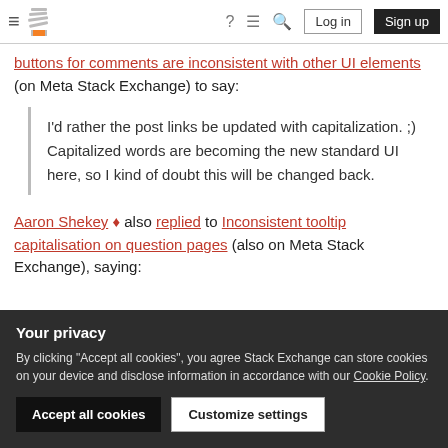Stack Exchange navigation bar with Log in and Sign up buttons
buttons for comments are inconsistent with other UI elements (on Meta Stack Exchange) to say:
I'd rather the post links be updated with capitalization. ;) Capitalized words are becoming the new standard UI here, so I kind of doubt this will be changed back.
Aaron Shekey ♦ also replied to Inconsistent tooltip capitalisation on question pages (also on Meta Stack Exchange), saying:
Your privacy
By clicking "Accept all cookies", you agree Stack Exchange can store cookies on your device and disclose information in accordance with our Cookie Policy.
Accept all cookies | Customize settings
change "share" to "Share", our translated